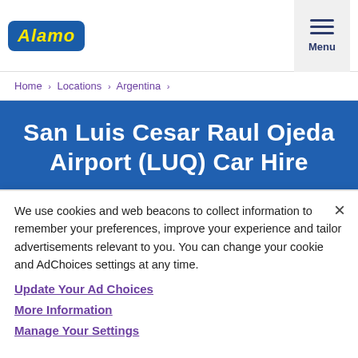Alamo | Menu
Home › Locations › Argentina ›
San Luis Cesar Raul Ojeda Airport (LUQ) Car Hire
Start your reservation
We use cookies and web beacons to collect information to remember your preferences, improve your experience and tailor advertisements relevant to you. You can change your cookie and AdChoices settings at any time.
Update Your Ad Choices
More Information
Manage Your Settings